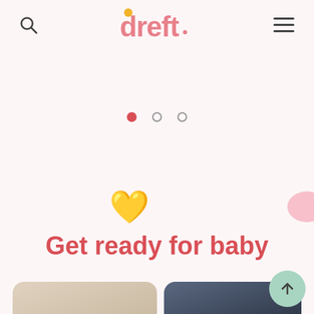dreft (logo with search and hamburger menu icons)
[Figure (other): Carousel navigation dots: one filled red dot (active) and two empty circle dots]
[Figure (illustration): Yellow heart emoji icon]
Get ready for baby
[Figure (photo): Two photos side by side: left shows a pregnant woman in white clothing, right shows a woman with dark hair lying down]
[Figure (other): Back to top button - circular green button with upward arrow]